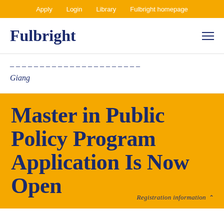Apply  Login  Library  Fulbright homepage
Fulbright
...  Hậu Giang
Master in Public Policy Program Application Is Now Open
Registration information